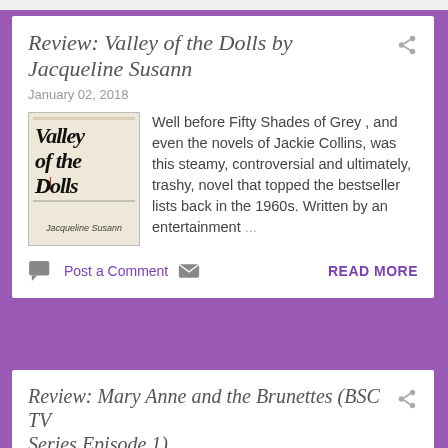Review: Valley of the Dolls by Jacqueline Susann
January 02, 2018
Well before Fifty Shades of Grey , and even the novels of Jackie Collins, was this steamy, controversial and ultimately, trashy, novel that topped the bestseller lists back in the 1960s. Written by an entertainment ...
Post a Comment   READ MORE
Review: Mary Anne and the Brunettes (BSC TV Series Episode 1)
January 01, 2018